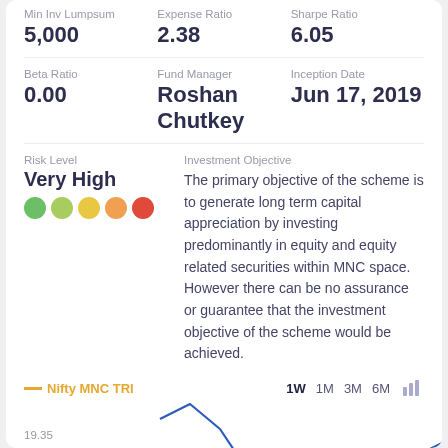Min Inv Lumpsum: 5,000 | Expense Ratio: 2.38 | Sharpe Ratio: 6.05
Beta Ratio: 0.00 | Fund Manager: Roshan Chutkey | Inception Date: Jun 17, 2019
Risk Level: Very High
Investment Objective: The primary objective of the scheme is to generate long term capital appreciation by investing predominantly in equity and equity related securities within MNC space. However there can be no assurance or guarantee that the investment objective of the scheme would be achieved.
[Figure (line-chart): Line chart showing Nifty MNC TRI performance with time period options 1W, 1M, 3M, 6M. Y-axis shows value 19.35. A blue line chart is partially visible at the bottom.]